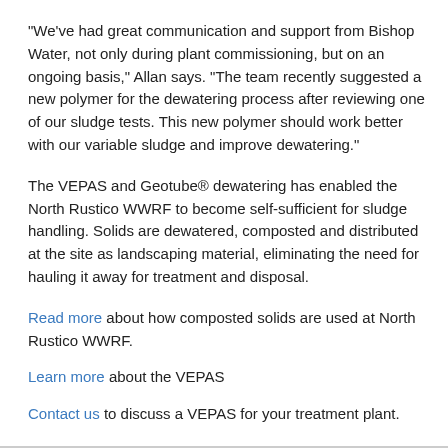“We’ve had great communication and support from Bishop Water, not only during plant commissioning, but on an ongoing basis,” Allan says. “The team recently suggested a new polymer for the dewatering process after reviewing one of our sludge tests. This new polymer should work better with our variable sludge and improve dewatering.”
The VEPAS and Geotube® dewatering has enabled the North Rustico WWRF to become self-sufficient for sludge handling. Solids are dewatered, composted and distributed at the site as landscaping material, eliminating the need for hauling it away for treatment and disposal.
Read more about how composted solids are used at North Rustico WWRF.
Learn more about the VEPAS
Contact us to discuss a VEPAS for your treatment plant.